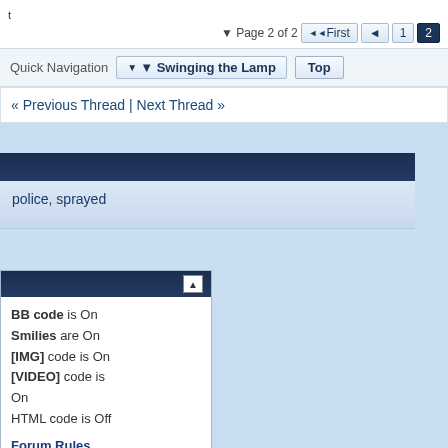t
Page 2 of 2  First  1  2
Quick Navigation  Swinging the Lamp  Top
« Previous Thread | Next Thread »
police, sprayed
BB code is On
Smilies are On
[IMG] code is On
[VIDEO] code is On
HTML code is Off
Forum Rules